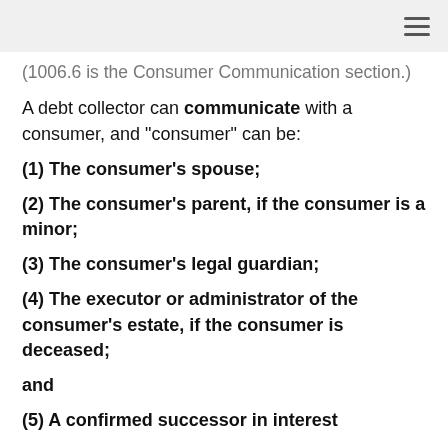(1006.6 is the Consumer Communication section.)
A debt collector can communicate with a consumer, and "consumer" can be:
(1) The consumer's spouse;
(2) The consumer's parent, if the consumer is a minor;
(3) The consumer's legal guardian;
(4) The executor or administrator of the consumer's estate, if the consumer is deceased;
and
(5) A confirmed successor in interest
And that's essentially how the FDCPA currently defines a consumer w/r/t communications.
A debt collector cannot collect from a spouse, parent, legal guardian, executor, administrator of the consumer's estate, or a confirmed successor in interest -- but they are